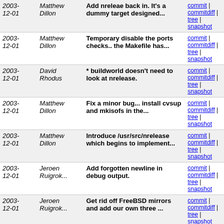| Date | Author | Message | Links |
| --- | --- | --- | --- |
| 2003-12-01 | Matthew Dillon | Add nreleae back in. It's a dummy target designed... | commit | commitdiff | tree | snapshot |
| 2003-12-01 | Matthew Dillon | Temporary disable the ports checks.. the Makefile has... | commit | commitdiff | tree | snapshot |
| 2003-12-01 | David Rhodus | * buildworld doesn't need to look at nrelease. | commit | commitdiff | tree | snapshot |
| 2003-12-01 | Matthew Dillon | Fix a minor bug... install cvsup and mkisofs in the... | commit | commitdiff | tree | snapshot |
| 2003-12-01 | Matthew Dillon | Introduce /usr/src/nrelease which begins to implement... | commit | commitdiff | tree | snapshot |
| 2003-12-01 | Jeroen Ruigrok... | Add forgotten newline in debug output. | commit | commitdiff | tree | snapshot |
| 2003-12-01 | Jeroen Ruigrok... | Get rid off FreeBSD mirrors and add our own three ... | commit | commitdiff | tree | snapshot |
| 2003-12-01 | Matthew Dillon | When attempting to open a file path do not treat a... | commit | commitdiff | tree | snapshot |
| 2003-12-01 | Matthew Dillon | Do not require -i0 when -o is used. | commit | commitdiff | tree | snapshot |
| 2003-12-01 | Matthew Dillon | Add a missing PRELE() when the mfs_mount kernel process... | commit | commitdiff | tree | snapshot |
| 2003- | Matthew Dillon | Documentat mount_mfs -C | commit | commitdiff |